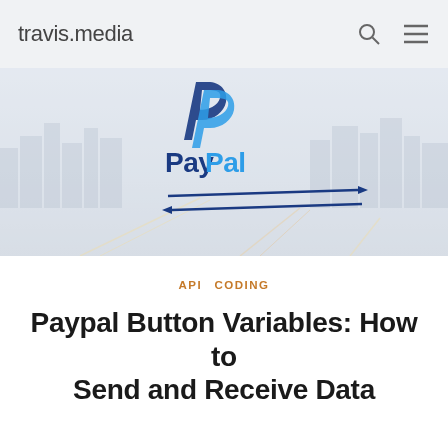travis.media
[Figure (illustration): Hero image showing PayPal logo (dark blue P and light blue P forming the PayPal icon) with the text 'PayPal' below it in dark blue and light blue, overlaid on a blurred city skyline background. Two horizontal arrows pointing in opposite directions are shown below the logo, suggesting data exchange.]
API  CODING
Paypal Button Variables: How to Send and Receive Data